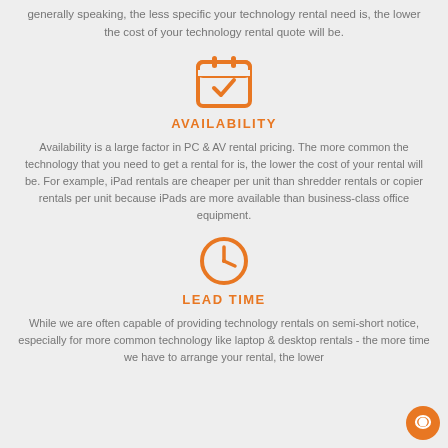generally speaking, the less specific your technology rental need is, the lower the cost of your technology rental quote will be.
[Figure (illustration): Orange calendar icon with a checkmark inside]
AVAILABILITY
Availability is a large factor in PC & AV rental pricing. The more common the technology that you need to get a rental for is, the lower the cost of your rental will be. For example, iPad rentals are cheaper per unit than shredder rentals or copier rentals per unit because iPads are more available than business-class office equipment.
[Figure (illustration): Orange clock icon]
LEAD TIME
While we are often capable of providing technology rentals on semi-short notice, especially for more common technology like laptop & desktop rentals - the more time we have to arrange your rental, the lower